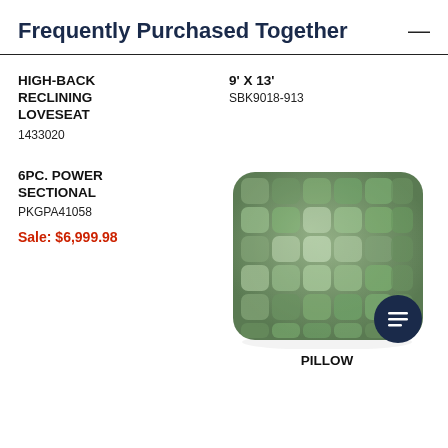Frequently Purchased Together
HIGH-BACK RECLINING LOVESEAT
1433020
9' X 13'
SBK9018-913
6PC. POWER SECTIONAL
PKGPA41058
Sale: $6,999.98
[Figure (photo): A green woven/quilted square pillow with textured square pattern.]
PILLOW